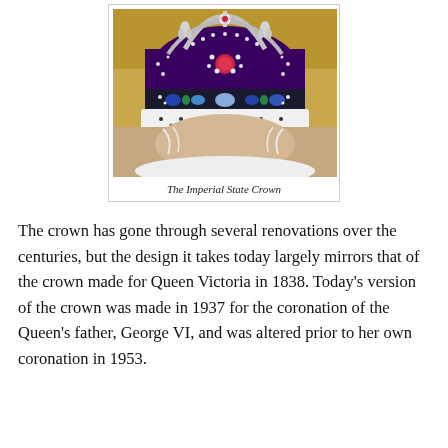[Figure (photo): Close-up photograph of the Imperial State Crown being worn, showing the jeweled crown with purple velvet, diamonds, and gemstones, with white ermine fur trim below. Gold decorative background visible.]
The Imperial State Crown
The crown has gone through several renovations over the centuries, but the design it takes today largely mirrors that of the crown made for Queen Victoria in 1838. Today's version of the crown was made in 1937 for the coronation of the Queen's father, George VI, and was altered prior to her own coronation in 1953.